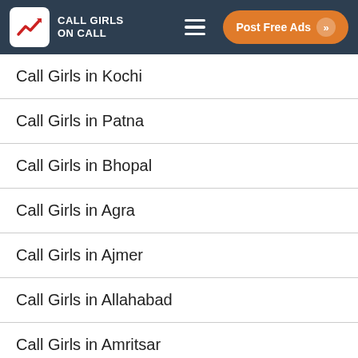CALL GIRLS ON CALL — Post Free Ads
Call Girls in Kochi
Call Girls in Patna
Call Girls in Bhopal
Call Girls in Agra
Call Girls in Ajmer
Call Girls in Allahabad
Call Girls in Amritsar
Call Girls in Aurangabad